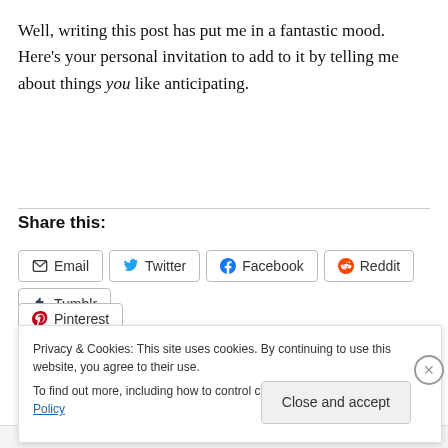Well, writing this post has put me in a fantastic mood. Here's your personal invitation to add to it by telling me about things you like anticipating.
Share this:
[Figure (screenshot): Share buttons: Email, Twitter, Facebook, Reddit, Tumblr, Pinterest]
Privacy & Cookies: This site uses cookies. By continuing to use this website, you agree to their use. To find out more, including how to control cookies, see here: Cookie Policy
Close and accept